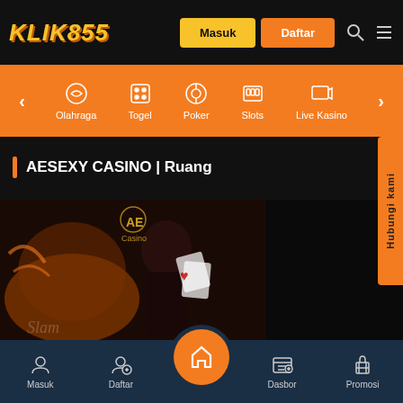KLIK855 - Masuk - Daftar
[Figure (screenshot): Orange category navigation bar with icons for Olahraga, Togel, Poker, Slots, Live Kasino]
AESEXY CASINO | Ruang
[Figure (photo): Casino game promotional image showing a woman with playing cards and a tiger, AE Casino branding]
Masuk - Daftar - Dasbor - Promosi